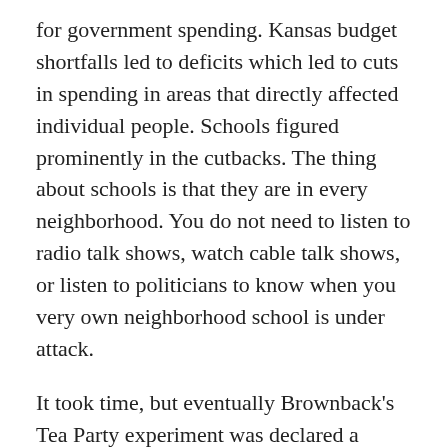for government spending. Kansas budget shortfalls led to deficits which led to cuts in spending in areas that directly affected individual people. Schools figured prominently in the cutbacks. The thing about schools is that they are in every neighborhood. You do not need to listen to radio talk shows, watch cable talk shows, or listen to politicians to know when you very own neighborhood school is under attack.
It took time, but eventually Brownback's Tea Party experiment was declared a failure. Tax cuts were reversed, vetoes were overridden, and taxes were increased. More or less there was peace in shire once again. There also was Democratic Party governor elected in 20218 in this Republican state.
Governors are different than Senators and talk show hosts. They have to put up or they are shut up. Governors have direct responsibilities. They act